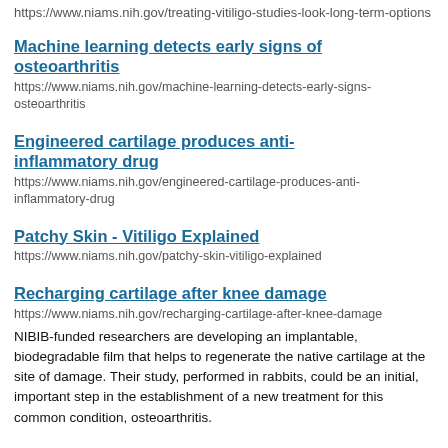https://www.niams.nih.gov/treating-vitiligo-studies-look-long-term-options
Machine learning detects early signs of osteoarthritis
https://www.niams.nih.gov/machine-learning-detects-early-signs-osteoarthritis
Engineered cartilage produces anti-inflammatory drug
https://www.niams.nih.gov/engineered-cartilage-produces-anti-inflammatory-drug
Patchy Skin - Vitiligo Explained
https://www.niams.nih.gov/patchy-skin-vitiligo-explained
Recharging cartilage after knee damage
https://www.niams.nih.gov/recharging-cartilage-after-knee-damage
NIBIB-funded researchers are developing an implantable, biodegradable film that helps to regenerate the native cartilage at the site of damage. Their study, performed in rabbits, could be an initial, important step in the establishment of a new treatment for this common condition, osteoarthritis.